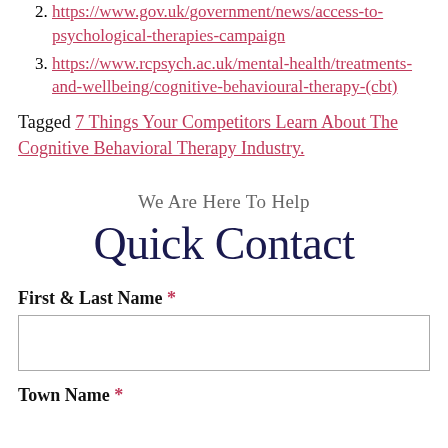2. https://www.gov.uk/government/news/access-to-psychological-therapies-campaign
3. https://www.rcpsych.ac.uk/mental-health/treatments-and-wellbeing/cognitive-behavioural-therapy-(cbt)
Tagged 7 Things Your Competitors Learn About The Cognitive Behavioral Therapy Industry.
We Are Here To Help
Quick Contact
First & Last Name *
Town Name *